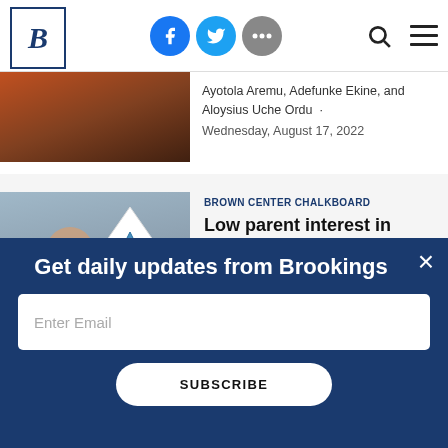Brookings Institution — navigation header with logo, social icons (Facebook, Twitter, more), search, and menu
Ayotola Aremu, Adefunke Ekine, and Aloysius Uche Ordu · Wednesday, August 17, 2022
[Figure (photo): Child holding paper art, colorful background in classroom setting]
BROWN CENTER CHALKBOARD
Low parent interest in COVID-recovery interventions should worry educators and policymakers alike
Dan Silver, Anna Saavedra, and Morgan
Get daily updates from Brookings
Enter Email
SUBSCRIBE